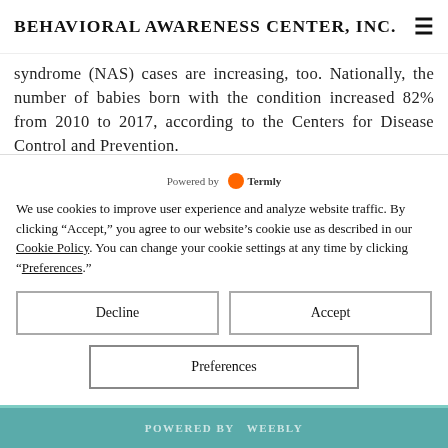Behavioral Awareness Center, Inc.
syndrome (NAS) cases are increasing, too. Nationally, the number of babies born with the condition increased 82% from 2010 to 2017, according to the Centers for Disease Control and Prevention.
The national trend in NAS cases holds true in Arizona and has worsened since the Covid pandemic began. Arizona's NAS rate in 2020 was 14.00 per 1,000 births, up from 8.38 per 1,000 births going to Arizona Department of Health Services vital statistics reports. In 2010, that figure was 2.65 per 1,000.
We use cookies to improve user experience and analyze website traffic. By clicking “Accept,” you agree to our website’s cookie use as described in our Cookie Policy. You can change your cookie settings at any time by clicking “Preferences.”
Decline
Accept
Preferences
POWERED BY Weebly